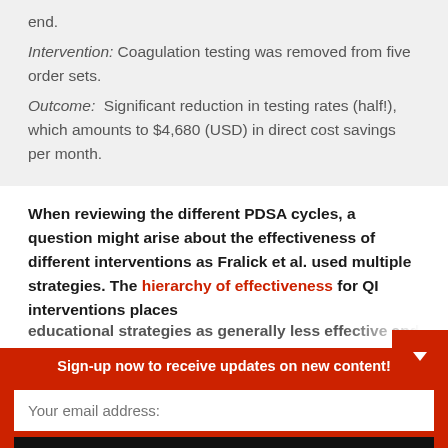end.
Intervention: Coagulation testing was removed from five order sets.
Outcome: Significant reduction in testing rates (half!), which amounts to $4,680 (USD) in direct cost savings per month.
When reviewing the different PDSA cycles, a question might arise about the effectiveness of different interventions as Fralick et al. used multiple strategies. The hierarchy of effectiveness for QI interventions places educational strategies as generally less effective and
Sign-up now to receive updates on new content!
Your email address:
Subscribe